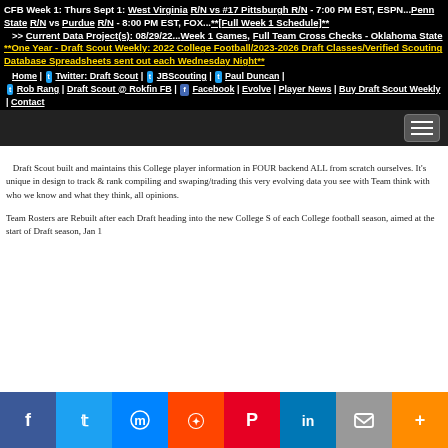CFB Week 1: Thurs Sept 1: West Virginia R/N vs #17 Pittsburgh R/N - 7:00 PM EST, ESPN...Penn State R/N vs Purdue R/N - 8:00 PM EST, FOX...**[Full Week 1 Schedule]**
>> Current Data Project(s): 08/29/22...Week 1 Games, Full Team Cross Checks - Oklahoma State
**One Year - Draft Scout Weekly: 2022 College Football/2023-2026 Draft Classes/Verified Scouting Database Spreadsheets sent out each Wednesday Night**
Home | Twitter: Draft Scout | JBScouting | Paul Duncan | Rob Rang | Draft Scout @ Rokfin FB | Facebook | Evolve | Player News | Buy Draft Scout Weekly | Contact
Draft Scout built and maintains this College player information in FOUR backend ALL from scratch ourselves. It's unique in design to track & rank compiling and swaping/trading this very evolving data you see with Team think with who we know and what they think, all opinions.
Team Rosters are Rebuilt after each Draft heading into the new College S of each College football season, aimed at the start of Draft season, Jan 1